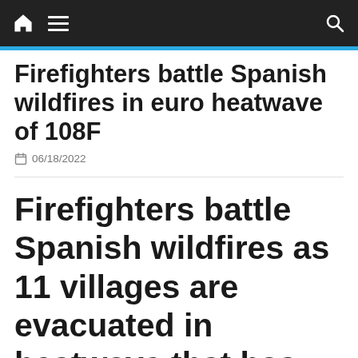nav bar with home, menu, and search icons
Firefighters battle Spanish wildfires in euro heatwave of 108F
06/18/2022
Firefighters battle Spanish wildfires as 11 villages are evacuated in heatwave that has brought scorching